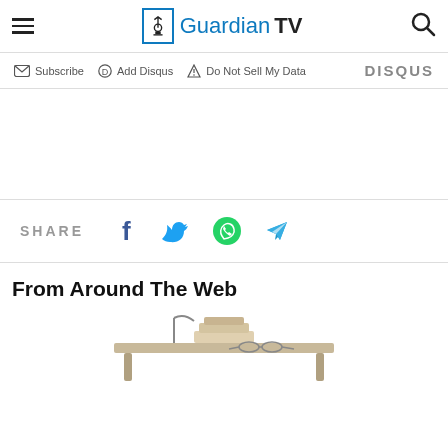Guardian TV
Subscribe  Add Disqus  Do Not Sell My Data   DISQUS
SHARE
From Around The Web
[Figure (photo): Furniture or product image partially visible at bottom of page]